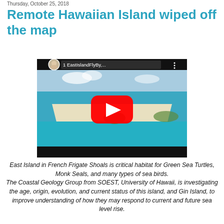Thursday, October 25, 2018
Remote Hawaiian Island wiped off the map
[Figure (screenshot): YouTube video thumbnail showing aerial footage of East Island in French Frigate Shoals, with a sandy strip surrounded by turquoise water. Video title shows '1 EastIslandFlyBy,...' with a red YouTube play button overlay and a circular profile photo of the uploader.]
East Island in French Frigate Shoals is critical habitat for Green Sea Turtles, Monk Seals, and many types of sea birds.
The Coastal Geology Group from SOEST, University of Hawaii, is investigating the age, origin, evolution, and current status of this island, and Gin Island, to improve understanding of how they may respond to current and future sea level rise.